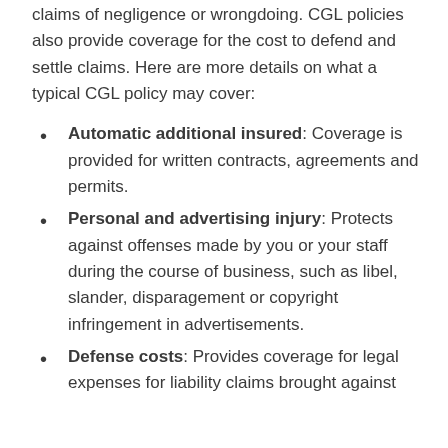claims of negligence or wrongdoing. CGL policies also provide coverage for the cost to defend and settle claims. Here are more details on what a typical CGL policy may cover:
Automatic additional insured: Coverage is provided for written contracts, agreements and permits.
Personal and advertising injury: Protects against offenses made by you or your staff during the course of business, such as libel, slander, disparagement or copyright infringement in advertisements.
Defense costs: Provides coverage for legal expenses for liability claims brought against